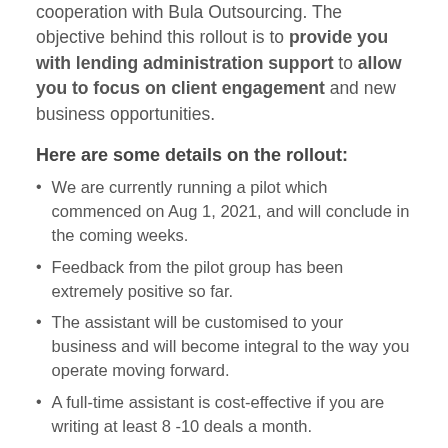cooperation with Bula Outsourcing. The objective behind this rollout is to provide you with lending administration support to allow you to focus on client engagement and new business opportunities.
Here are some details on the rollout:
We are currently running a pilot which commenced on Aug 1, 2021, and will conclude in the coming weeks.
Feedback from the pilot group has been extremely positive so far.
The assistant will be customised to your business and will become integral to the way you operate moving forward.
A full-time assistant is cost-effective if you are writing at least 8 -10 deals a month.